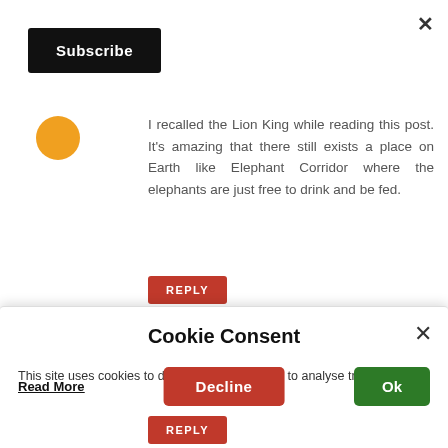×
Subscribe
I recalled the Lion King while reading this post. It's amazing that there still exists a place on Earth like Elephant Corridor where the elephants are just free to drink and be fed.
REPLY
Cookie Consent
This site uses cookies to deliver its services and to analyse traffic.
Read More
Decline
Ok
REPLY